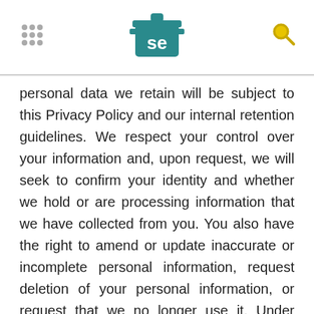[Serious Eats logo with grid icon and search icon]
personal data we retain will be subject to this Privacy Policy and our internal retention guidelines. We respect your control over your information and, upon request, we will seek to confirm your identity and whether we hold or are processing information that we have collected from you. You also have the right to amend or update inaccurate or incomplete personal information, request deletion of your personal information, or request that we no longer use it. Under certain circumstances we will not be able to fulfill your request, such as if it interferes with our regulatory obligations, affects legal matters, we cannot verify your identity, or it involves disproportionate cost or effort, but in any event we will respond to your